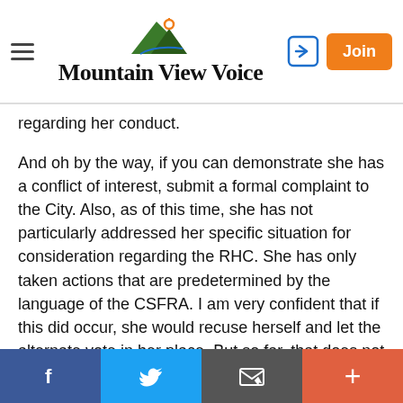Mountain View Voice
regarding her conduct.
And oh by the way, if you can demonstrate she has a conflict of interest, submit a formal complaint to the City. Also, as of this time, she has not particularly addressed her specific situation for consideration regarding the RHC. She has only taken actions that are predetermined by the language of the CSFRA. I am very confident that if this did occur, she would recuse herself and let the alternate vote in her place. But so far, that does not seem to have taken place yet.
To me, I think that idea trying to call Emily Ramos's conduct to be equally as offensive to Tom Means's
f  Twitter  Email  +